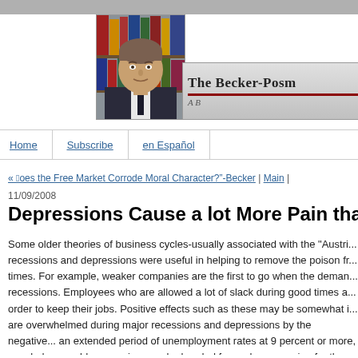[Figure (photo): Photo of a man (Gary Becker) in front of bookshelves, alongside The Becker-Posner Blog banner with red accent line]
THE BECKER-POSM... | A [Blog]
Home | Subscribe | en Español
« “Does the Free Market Corrode Moral Character?”-Becker | Main |
11/09/2008
Depressions Cause a lot More Pain than
Some older theories of business cycles-usually associated with the "Austri... recessions and depressions were useful in helping to remove the poison fr... times. For example, weaker companies are the first to go when the deman... recessions. Employees who are allowed a lot of slack during good times a... order to keep their jobs. Positive effects such as these may be somewhat i... are overwhelmed during major recessions and depressions by the negative... an extended period of unemployment rates at 9 percent or more, coupled v... world economies may be headed for such a recession for the next year or... individuals of mild to severe recessions in part because they have neglecte...